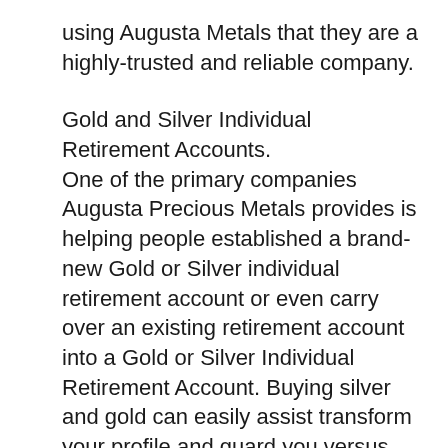using Augusta Metals that they are a highly-trusted and reliable company.
Gold and Silver Individual Retirement Accounts.
One of the primary companies Augusta Precious Metals provides is helping people established a brand-new Gold or Silver individual retirement account or even carry over an existing retirement account into a Gold or Silver Individual Retirement Account. Buying silver and gold can easily assist transform your profile and guard you versus the volatility of the stock market. Purchasing precious metals also enables you to dodge against inflation if the market value of the dollar minimizes.